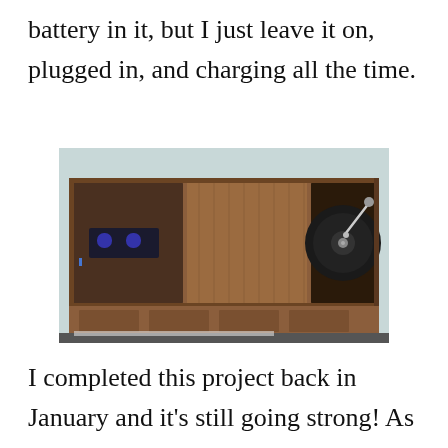battery in it, but I just leave it on, plugged in, and charging all the time.
[Figure (photo): A vintage wooden stereo console cabinet viewed from above, showing an open top with a record player/turntable on the right side and what appears to be a cassette or radio component on the left side. The cabinet has decorative wood paneling on the front.]
I completed this project back in January and it's still going strong! As I anticipated, once I can easily hook up modern technology to it